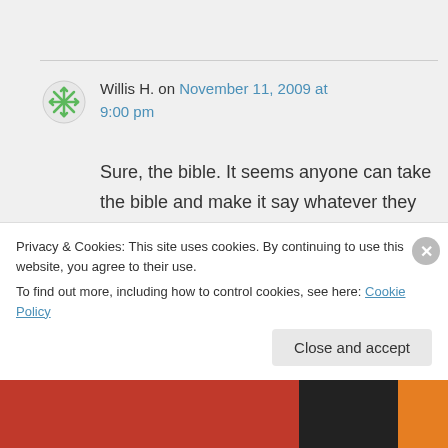Willis H. on November 11, 2009 at 9:00 pm
Sure, the bible. It seems anyone can take the bible and make it say whatever they want. I'm beginning to think I wasted the best years of my life believing a bunch of bullshit. Those people need to have justice
Privacy & Cookies: This site uses cookies. By continuing to use this website, you agree to their use.
To find out more, including how to control cookies, see here: Cookie Policy
Close and accept